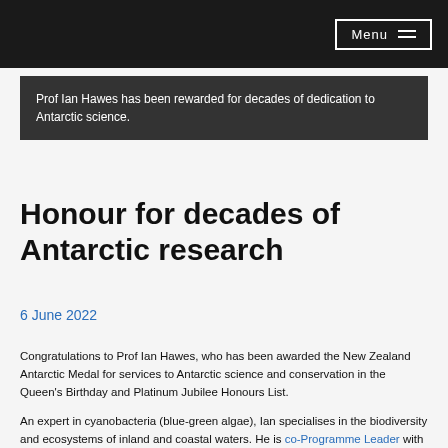Menu
Prof Ian Hawes has been rewarded for decades of dedication to Antarctic science.
Honour for decades of Antarctic research
6 June 2022
Congratulations to Prof Ian Hawes, who has been awarded the New Zealand Antarctic Medal for services to Antarctic science and conservation in the Queen's Birthday and Platinum Jubilee Honours List.
An expert in cyanobacteria (blue-green algae), Ian specialises in the biodiversity and ecosystems of inland and coastal waters. He is co-Programme Leader with the New Zealand Antarctic Science Platform,